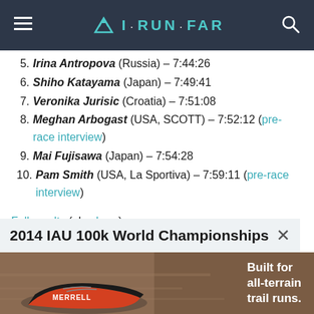I·RUN·FAR
5. Irina Antropova (Russia) – 7:44:26
6. Shiho Katayama (Japan) – 7:49:41
7. Veronika Jurisic (Croatia) – 7:51:08
8. Meghan Arbogast (USA, SCOTT) – 7:52:12 (pre-race interview)
9. Mai Fujisawa (Japan) – 7:54:28
10. Pam Smith (USA, La Sportiva) – 7:59:11 (pre-race interview)
Full results (also here).
2014 IAU 100k World Championships
[Figure (photo): Merrell trail running shoe advertisement with text: Built for all-terrain trail runs.]